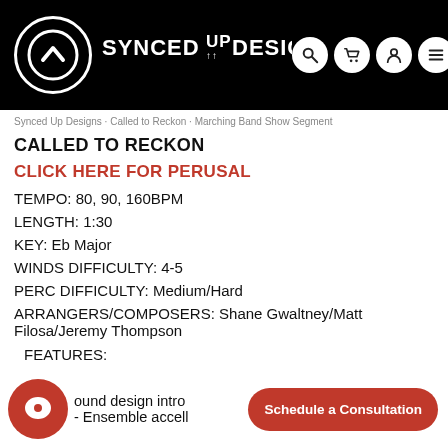Synced Up Designs — logo header with navigation icons
Synced Up Designs · Called to Reckon · Marching Band Show Segment
CALLED TO RECKON
CLICK HERE FOR PERUSAL
TEMPO: 80, 90, 160BPM
LENGTH: 1:30
KEY: Eb Major
WINDS DIFFICULTY: 4-5
PERC DIFFICULTY: Medium/Hard
ARRANGERS/COMPOSERS: Shane Gwaltney/Matt Filosa/Jeremy Thompson
FEATURES:
- sound design intro
- Ensemble accell